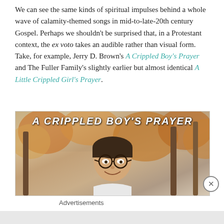We can see the same kinds of spiritual impulses behind a whole wave of calamity-themed songs in mid-to-late-20th century Gospel. Perhaps we shouldn't be surprised that, in a Protestant context, the ex voto takes an audible rather than visual form. Take, for example, Jerry D. Brown's A Crippled Boy's Prayer and The Fuller Family's slightly earlier but almost identical A Little Crippled Girl's Prayer.
[Figure (photo): Album cover for 'A Crippled Boy's Prayer' showing a young man with glasses and dark hair, smiling, with autumn trees in the background. The album title text appears across the top in bold italic letters.]
Advertisements